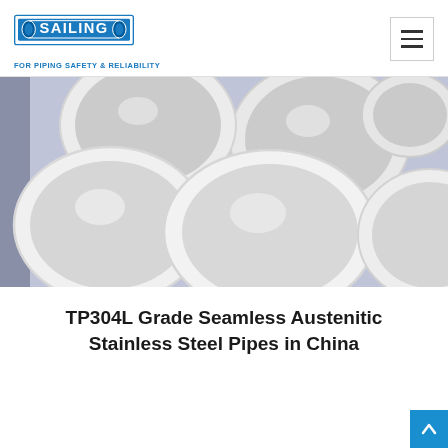[Figure (logo): Sailing logo — blue rectangular logo with text SAILING and tagline FOR PIPING SAFETY & RELIABILITY]
[Figure (photo): Photograph of multiple white stainless steel pipes viewed from the ends, arranged in a bundle on a blue-grey background]
TP304L Grade Seamless Austenitic Stainless Steel Pipes in China